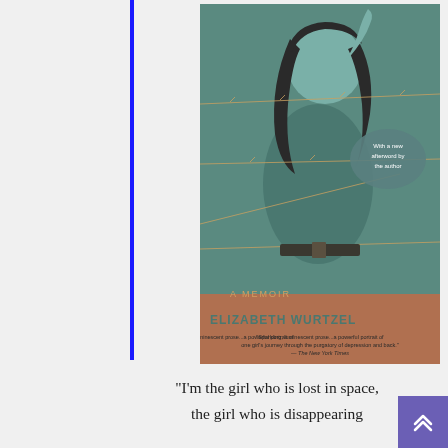[Figure (illustration): Book cover of 'Prozac Nation' by Elizabeth Wurtzel. A Memoir. Shows a young woman with long dark hair, hand raised near her head, with a teal/blue-green color scheme and barbed wire overlay. Text includes: 'With a new afterword by the author', 'A MEMOIR', 'ELIZABETH WURTZEL', and quote: 'Sparkling, luminescent prose...a powerful portrait of one girl's journey through the purgatory of depression and back.' — The New York Times]
“I’m the girl who is lost in space, the girl who is disappearing